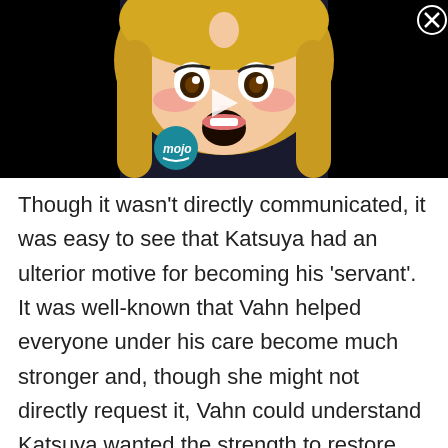[Figure (screenshot): Video thumbnail showing an anime girl character with blonde hair and an open mouth surprised expression, with a play button in the center, a WatchMojo 'mojo' logo in the lower left area, and a close (X) button in the upper right corner. Background is black.]
Though it wasn't directly communicated, it was easy to see that Katsuya had an ulterior motive for becoming his 'servant'. It was well-known that Vahn helped everyone under his care become much stronger and, though she might not directly request it, Vahn could understand Katsuya wanted the strength to restore her Clan in the future…